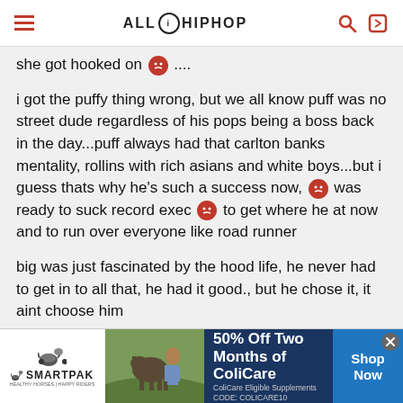AllHipHop
she got hooked on 🤬 ....
i got the puffy thing wrong, but we all know puff was no street dude regardless of his pops being a boss back in the day...puff always had that carlton banks mentality, rollins with rich asians and white boys...but i guess thats why he's such a success now, 🤬 was ready to suck record exec 🤬 to get where he at now and to run over everyone like road runner
big was just fascinated by the hood life, he never had to get in to all that, he had it good., but he chose it, it aint choose him
[Figure (infographic): SmartPak advertisement banner: 50% Off Two Months of ColiCare, ColiCare Eligible Supplements, CODE: COLICARE10, Shop Now]